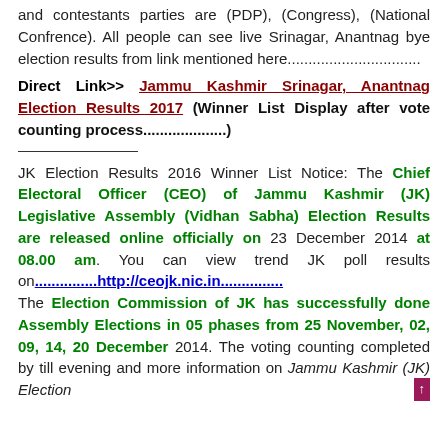and contestants parties are (PDP), (Congress), (National Confrence). All people can see live Srinagar, Anantnag bye election results from link mentioned here................................
Direct Link>> Jammu Kashmir Srinagar, Anantnag Election Results 2017 (Winner List Display after vote counting process..................)
JK Election Results 2016 Winner List Notice: The Chief Electoral Officer (CEO) of Jammu Kashmir (JK) Legislative Assembly (Vidhan Sabha) Election Results are released online officially on 23 December 2014 at 08.00 am. You can view trend JK poll results on...............http://ceojk.nic.in............... The Election Commission of JK has successfully done Assembly Elections in 05 phases from 25 November, 02, 09, 14, 20 December 2014. The voting counting completed by till evening and more information on Jammu Kashmir (JK) Election